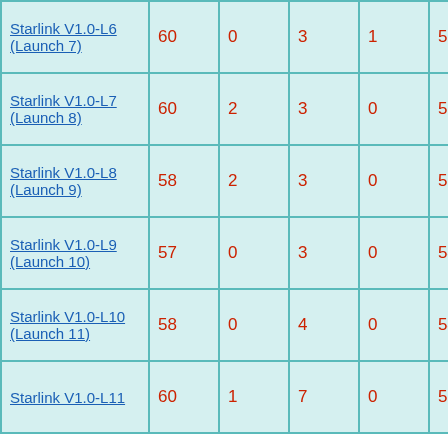| Starlink V1.0-L6 (Launch 7) | 60 | 0 | 3 | 1 | 56 | 0 |
| Starlink V1.0-L7 (Launch 8) | 60 | 2 | 3 | 0 | 55 | 0 |
| Starlink V1.0-L8 (Launch 9) | 58 | 2 | 3 | 0 | 53 | 0 |
| Starlink V1.0-L9 (Launch 10) | 57 | 0 | 3 | 0 | 54 | 0 |
| Starlink V1.0-L10 (Launch 11) | 58 | 0 | 4 | 0 | 54 | 0 |
| Starlink V1.0-L11 | 60 | 1 | 7 | 0 | 52 | 0 |